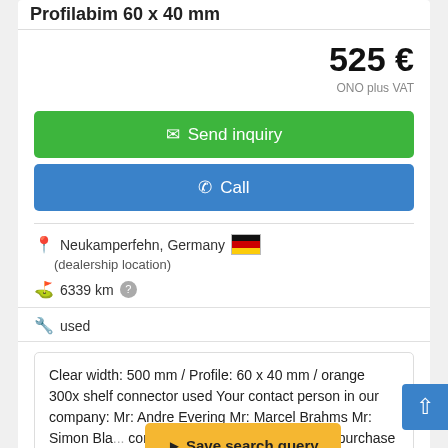Profilabim 60 x 40 mm
525 €
ONO plus VAT
Send inquiry
Call
Neukamperfehn, Germany
(dealership location)
6339 km
used
Clear width: 500 mm / Profile: 60 x 40 mm / orange 300x shelf connector used Your contact person in our company: Mr: Andre Evering Mr: Marcel Brahms Mr: Simon Bla... connectors... ly valid for a purchase quantity of at least 300 pcs. -Shipping
Save search query